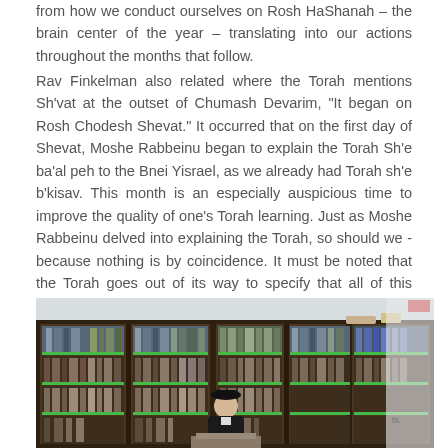from how we conduct ourselves on Rosh HaShanah – the brain center of the year – translating into our actions throughout the months that follow.
Rav Finkelman also related where the Torah mentions Sh'vat at the outset of Chumash Devarim, "It began on Rosh Chodesh Shevat." It occurred that on the first day of Shevat, Moshe Rabbeinu began to explain the Torah Sh'e ba'al peh to the Bnei Yisrael, as we already had Torah sh'e b'kisav. This month is an especially auspicious time to improve the quality of one's Torah learning. Just as Moshe Rabbeinu delved into explaining the Torah, so should we - because nothing is by coincidence. It must be noted that the Torah goes out of its way to specify that all of this began on Rosh Chodesh Shevat.
[Figure (photo): A rabbi or scholar sitting at a podium in front of large bookshelves filled with Jewish religious books, viewed from a distance. The figure wears a black hat. Books have green-tagged spines.]